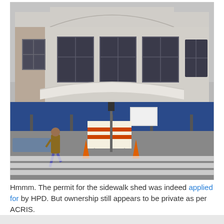[Figure (photo): Street-level photo of a run-down two-story commercial building with Art Deco styling, blue storefront awning/sidewalk shed, construction barricades on the sidewalk, and a pedestrian crossing at a crosswalk. A man in a yellow vest walks through the crosswalk.]
Hmmm. The permit for the sidewalk shed was indeed applied for by HPD. But ownership still appears to be private as per ACRIS.